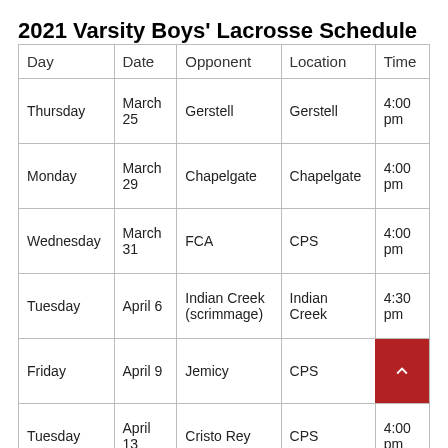2021 Varsity Boys' Lacrosse Schedule
| Day | Date | Opponent | Location | Time |
| --- | --- | --- | --- | --- |
| Thursday | March 25 | Gerstell | Gerstell | 4:00 pm |
| Monday | March 29 | Chapelgate | Chapelgate | 4:00 pm |
| Wednesday | March 31 | FCA | CPS | 4:00 pm |
| Tuesday | April 6 | Indian Creek (scrimmage) | Indian Creek | 4:30 pm |
| Friday | April 9 | Jemicy | CPS | 4:00 pm |
| Tuesday | April 13 | Cristo Rey | CPS | 4:00 pm |